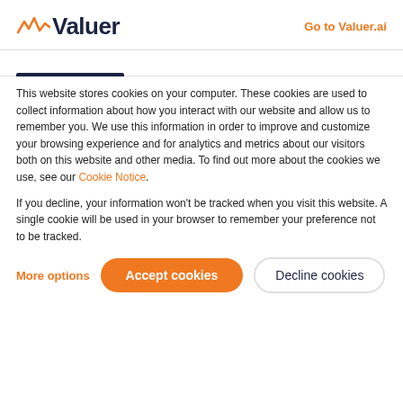Valuer | Go to Valuer.ai
This website stores cookies on your computer. These cookies are used to collect information about how you interact with our website and allow us to remember you. We use this information in order to improve and customize your browsing experience and for analytics and metrics about our visitors both on this website and other media. To find out more about the cookies we use, see our Cookie Notice.
If you decline, your information won't be tracked when you visit this website. A single cookie will be used in your browser to remember your preference not to be tracked.
More options | Accept cookies | Decline cookies